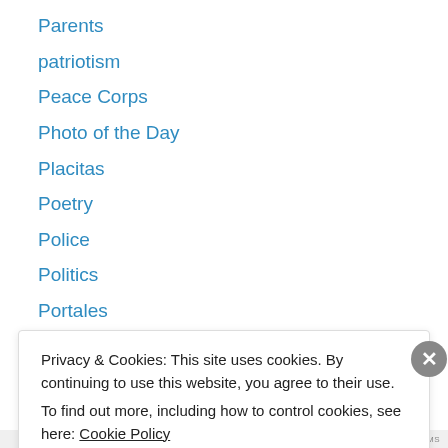Parents
patriotism
Peace Corps
Photo of the Day
Placitas
Poetry
Police
Politics
Portales
Poultry
Prospecting
Reading
Redneck Repairs
Privacy & Cookies: This site uses cookies. By continuing to use this website, you agree to their use. To find out more, including how to control cookies, see here: Cookie Policy